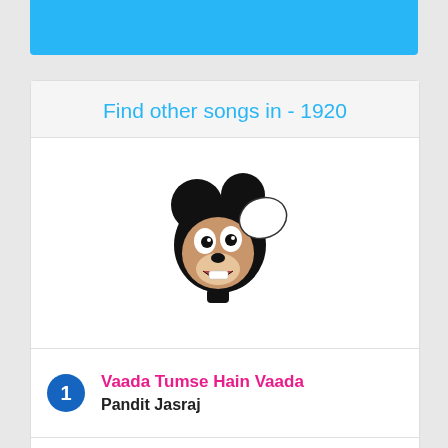[Figure (other): Blue decorative top bar]
Find other songs in - 1920
[Figure (illustration): Mickey Mouse cartoon illustration, pointing with one hand up]
1 Vaada Tumse Hain Vaada - Pandit Jasraj
2 Tujhe Main Pyar Karu - Kailash Kher
3 Bichua